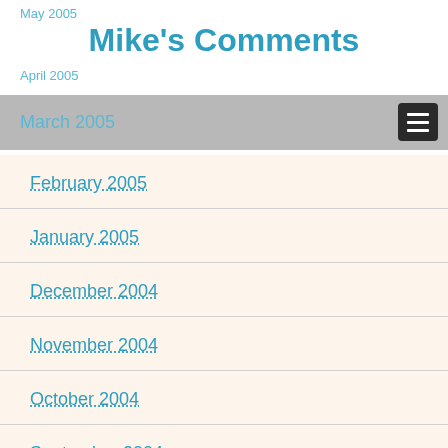Mike's Comments
May 2005
April 2005
March 2005
February 2005
January 2005
December 2004
November 2004
October 2004
September 2004
August 2004
July 2004